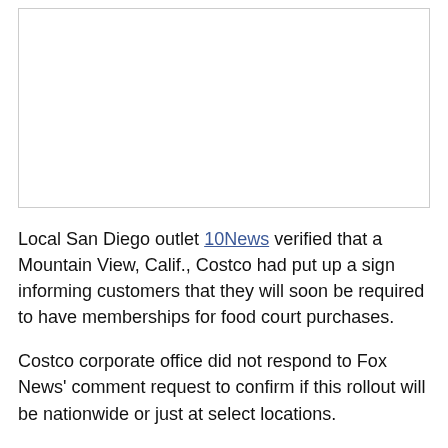[Figure (other): Empty white image box with border]
Local San Diego outlet 10News verified that a Mountain View, Calif., Costco had put up a sign informing customers that they will soon be required to have memberships for food court purchases.
Costco corporate office did not respond to Fox News' comment request to confirm if this rollout will be nationwide or just at select locations.